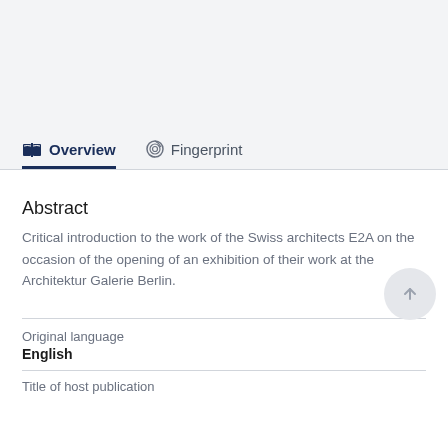Overview
Fingerprint
Abstract
Critical introduction to the work of the Swiss architects E2A on the occasion of the opening of an exhibition of their work at the Architektur Galerie Berlin.
Original language
English
Title of host publication